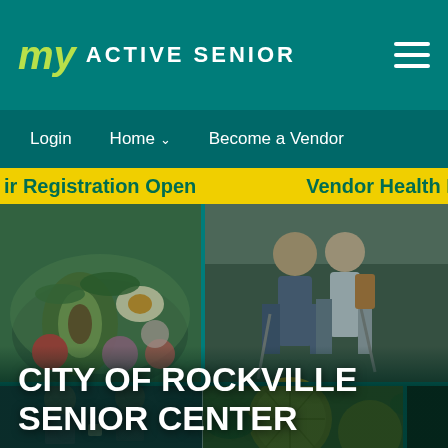My ACTIVE SENIOR
Login   Home ∨   Become a Vendor
ir Registration Open   Vendor Health F…
[Figure (photo): Collage of four images: top-left a bowl of healthy food with avocado and eggs; top-right two elderly people hiking with trekking poles; bottom-left two people sitting and talking with coffee cups; bottom-center and right sliced lemons/citrus with greens.]
CITY OF ROCKVILLE SENIOR CENTER